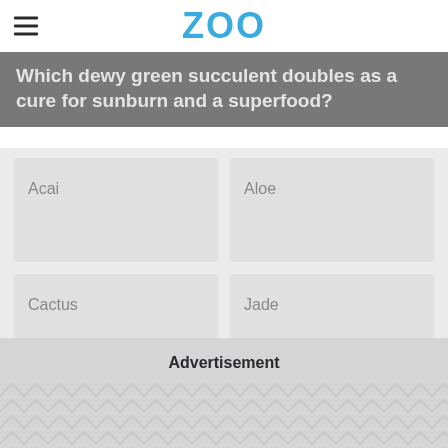ZOO
Which dewy green succulent doubles as a cure for sunburn and a superfood?
Acai
Aloe
Cactus
Jade
Advertisement